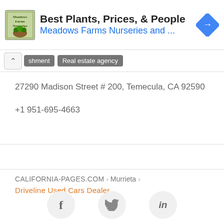[Figure (screenshot): Advertisement banner for Meadows Farms Nurseries with logo, headline 'Best Plants, Prices, & People', subheading 'Meadows Farms Nurseries and ...', and a blue navigation arrow icon]
shment  Real estate agency
27290 Madison Street # 200, Temecula, CA 92590
+1 951-695-4663
CALIFORNIA-PAGES.COM > Murrieta >
Driveline Used Cars Dealer
[Figure (illustration): Social media icons: Facebook (f), Twitter (bird), LinkedIn (in) in circular grey buttons]